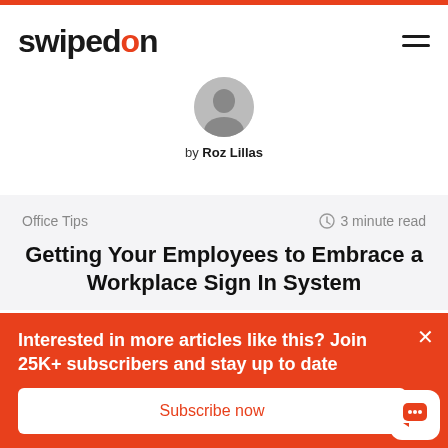[Figure (logo): SwipedOn logo with orange 'o' letter]
by Roz Lillas
Office Tips   3 minute read
Getting Your Employees to Embrace a Workplace Sign In System
Interested in more articles like this? Join 25K+ subscribers and stay up to date
Subscribe now